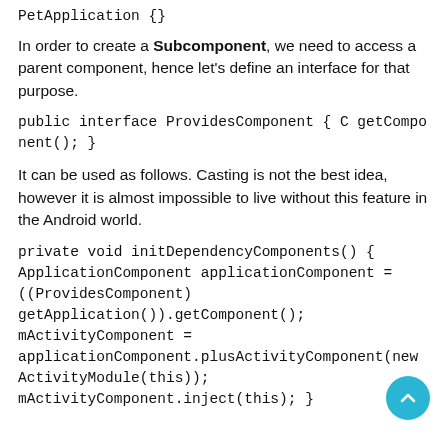PetApplication {}
In order to create a Subcomponent, we need to access a parent component, hence let’s define an interface for that purpose.
public interface ProvidesComponent { C getComponent(); }
It can be used as follows. Casting is not the best idea, however it is almost impossible to live without this feature in the Android world.
private void initDependencyComponents() {
ApplicationComponent applicationComponent =
((ProvidesComponent)
getApplication()).getComponent();
mActivityComponent =
applicationComponent.plusActivityComponent(new
ActivityModule(this));
mActivityComponent.inject(this); }